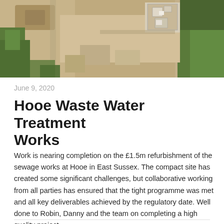[Figure (photo): Aerial overhead photograph of Hooe Waste Water Treatment Works showing sewage treatment site with sandy/earth areas, green trees around perimeter, and treatment structures visible from above.]
June 9, 2020
Hooe Waste Water Treatment Works
Work is nearing completion on the £1.5m refurbishment of the sewage works at Hooe in East Sussex. The compact site has created some significant challenges, but collaborative working from all parties has ensured that the tight programme was met and all key deliverables achieved by the regulatory date. Well done to Robin, Danny and the team on completing a high quality project.